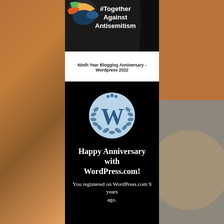[Figure (photo): Banner image with text '#Together Against Antisemitism' on dark background with colorful bird/figure]
Ninth Year Blogging Anniversary - Wordpress 2022
[Figure (photo): Black background image showing WordPress.com anniversary badge with WordPress W logo in laurel wreath circle, text 'Happy Anniversary with WordPress.com! You registered on WordPress.com 9 years ago.']